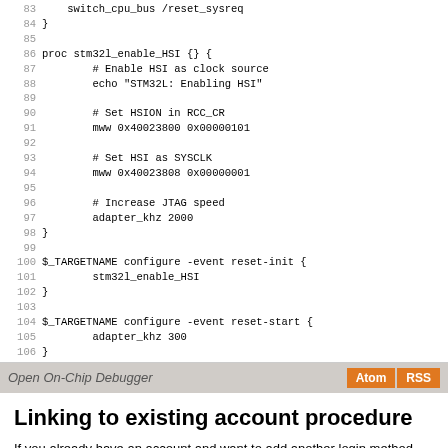Code block lines 83-106 showing stm32l_enable_HSI proc and $_TARGETNAME configure events
Open On-Chip Debugger  Atom  RSS
Linking to existing account procedure
If you already have an account and want to add another login method you MUST first sign in with your existing account and then change URL to